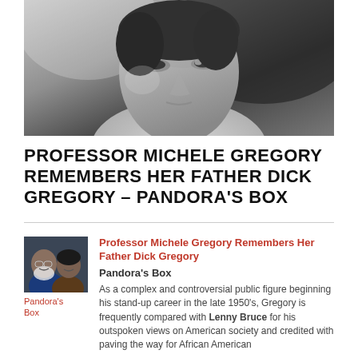[Figure (photo): Black and white close-up portrait photo of a man looking slightly down, wearing a light-colored shirt]
PROFESSOR MICHELE GREGORY REMEMBERS HER FATHER DICK GREGORY – PANDORA'S BOX
[Figure (photo): Small thumbnail photo showing two people, a man with white beard and a woman, smiling together]
Professor Michele Gregory Remembers Her Father Dick Gregory
Pandora's Box
As a complex and controversial public figure beginning his stand-up career in the late 1950's, Gregory is frequently compared with Lenny Bruce for his outspoken views on American society and credited with paving the way for African American
Pandora's Box